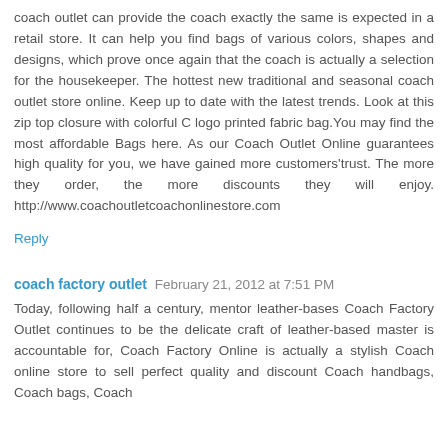coach outlet can provide the coach exactly the same is expected in a retail store. It can help you find bags of various colors, shapes and designs, which prove once again that the coach is actually a selection for the housekeeper. The hottest new traditional and seasonal coach outlet store online. Keep up to date with the latest trends. Look at this zip top closure with colorful C logo printed fabric bag.You may find the most affordable Bags here. As our Coach Outlet Online guarantees high quality for you, we have gained more customers'trust. The more they order, the more discounts they will enjoy. http://www.coachoutletcoachonlinestore.com
Reply
coach factory outlet  February 21, 2012 at 7:51 PM
Today, following half a century, mentor leather-bases Coach Factory Outlet continues to be the delicate craft of leather-based master is accountable for, Coach Factory Online is actually a stylish Coach online store to sell perfect quality and discount Coach handbags, Coach bags, Coach